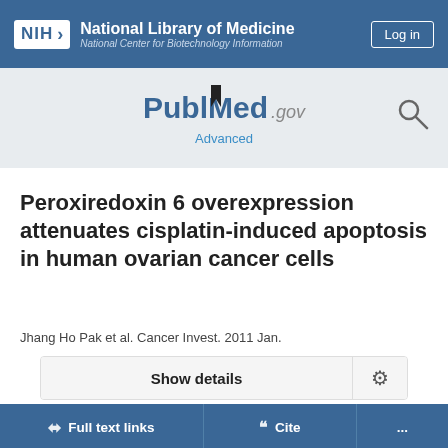NIH National Library of Medicine — National Center for Biotechnology Information
[Figure (logo): PubMed.gov logo with search icon and Advanced link]
Peroxiredoxin 6 overexpression attenuates cisplatin-induced apoptosis in human ovarian cancer cells
Jhang Ho Pak et al. Cancer Invest. 2011 Jan.
Show details
Full text links | Cite | ...